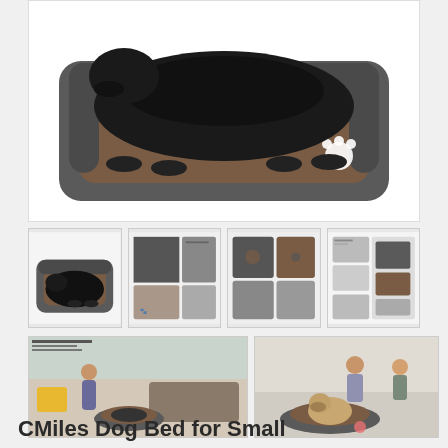[Figure (photo): Main product image: a large black dog resting in a gray and brown rectangular dog bed with sherpa lining and a white paw print on the side]
[Figure (photo): Thumbnail 1: black dog lying in brown/gray dog bed, side view]
[Figure (photo): Thumbnail 2: product info sheet showing gray fabric swatches and product details]
[Figure (photo): Thumbnail 3: close-up detail of dog bed materials and features]
[Figure (photo): Thumbnail 4: lifestyle and feature overview images of the dog bed]
[Figure (photo): Thumbnail 5: lifestyle image with person and dog with the dog bed in a living room]
[Figure (photo): Thumbnail 6: lifestyle image showing a pug sitting in the dog bed with a child nearby]
CMiles Dog Bed for Small